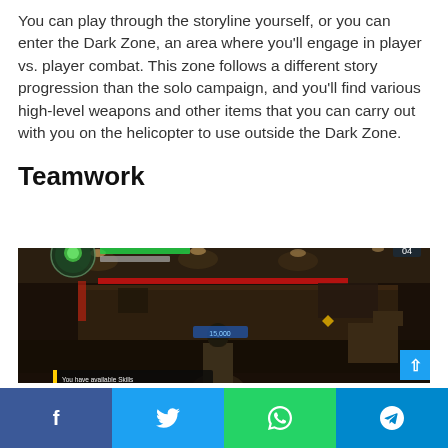You can play through the storyline yourself, or you can enter the Dark Zone, an area where you'll engage in player vs. player combat. This zone follows a different story progression than the solo campaign, and you'll find various high-level weapons and other items that you can carry out with you on the helicopter to use outside the Dark Zone.
Teamwork
[Figure (screenshot): In-game screenshot from a video game showing a dark indoor environment with red lighting, a player character in the foreground, and a game HUD with health bar, minimap, and on-screen text prompts including 'You have available Skills'.]